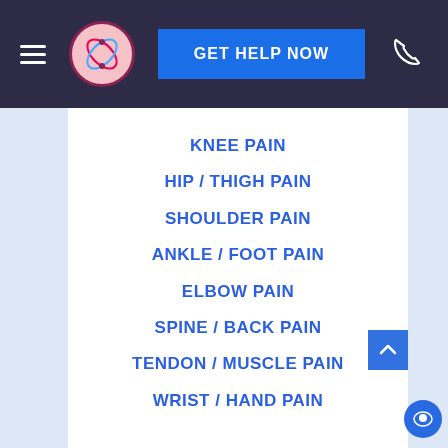GET HELP NOW
KNEE PAIN
HIP / THIGH PAIN
SHOULDER PAIN
ANKLE / FOOT PAIN
ELBOW PAIN
SPINE / BACK PAIN
TENDON / MUSCLE PAIN
WRIST / HAND PAIN